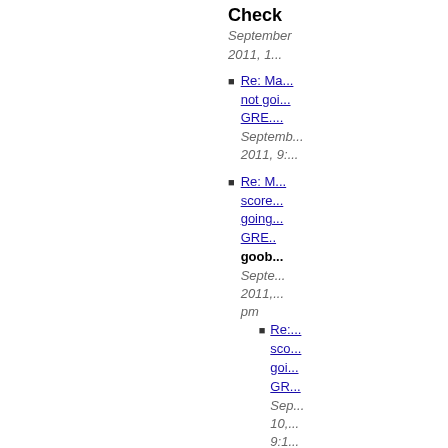Check
September 2011, 1...
Re: Ma... not goi... GRE....
September 2011, 9:...
Re: M... score... going... GRE... goober September 2011, pm
Re:... sco... goi... GR... Sep 10, 9:1...
R... s...